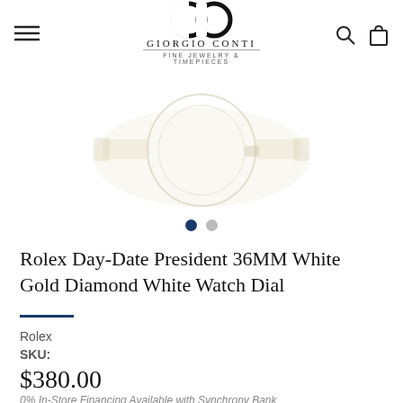GIORGIO CONTI FINE JEWELRY & TIMEPIECES
[Figure (photo): Product image of a Rolex watch with white/cream dial, partially visible, on white background]
Rolex Day-Date President 36MM White Gold Diamond White Watch Dial
Rolex
SKU:
$380.00
0% In-Store Financing Available with Synchrony Bank